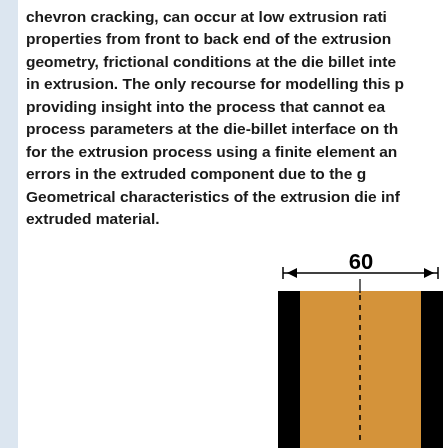chevron cracking, can occur at low extrusion ratio properties from front to back end of the extrusion geometry, frictional conditions at the die billet interface in extrusion. The only recourse for modelling this process providing insight into the process that cannot easily process parameters at the die-billet interface on the for the extrusion process using a finite element analysis errors in the extruded component due to the geometry. Geometrical characteristics of the extrusion die influence extruded material.
[Figure (engineering-diagram): Engineering diagram showing a cross-section of an extrusion die with a dimension annotation of '60' spanning the width, indicated by arrows. The die container is shown as a rectangular block with black walls and an orange/tan colored billet material inside. A vertical dashed center line runs through the middle of the billet.]